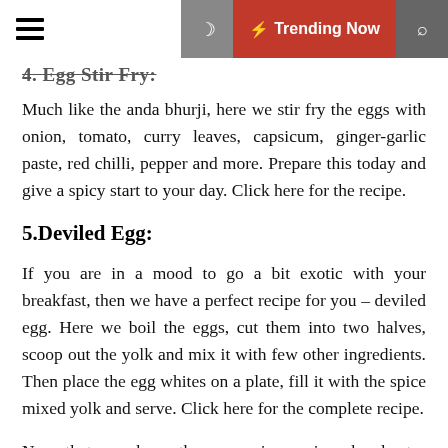≡  🌙  ⚡ Trending Now  🔍
4. ~~Egg Stir Fry:~~
Much like the anda bhurji, here we stir fry the eggs with onion, tomato, curry leaves, capsicum, ginger-garlic paste, red chilli, pepper and more. Prepare this today and give a spicy start to your day. Click here for the recipe.
5.Deviled Egg:
If you are in a mood to go a bit exotic with your breakfast, then we have a perfect recipe for you – deviled egg. Here we boil the eggs, cut them into two halves, scoop out the yolk and mix it with few other ingredients. Then place the egg whites on a plate, fill it with the spice mixed yolk and serve. Click here for the complete recipe.
Now that you have these amazing recipes handy, try them at home and put together delicious meals every single morning. Bon Apetit!
🏷 Posted in: Food Recipes